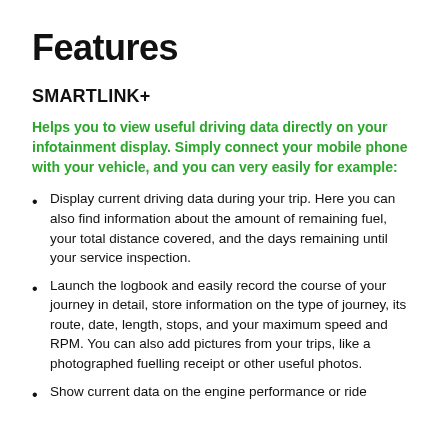Features
SMARTLINK+
Helps you to view useful driving data directly on your infotainment display. Simply connect your mobile phone with your vehicle, and you can very easily for example:
Display current driving data during your trip. Here you can also find information about the amount of remaining fuel, your total distance covered, and the days remaining until your service inspection.
Launch the logbook and easily record the course of your journey in detail, store information on the type of journey, its route, date, length, stops, and your maximum speed and RPM. You can also add pictures from your trips, like a photographed fuelling receipt or other useful photos.
Show current data on the engine performance or ride